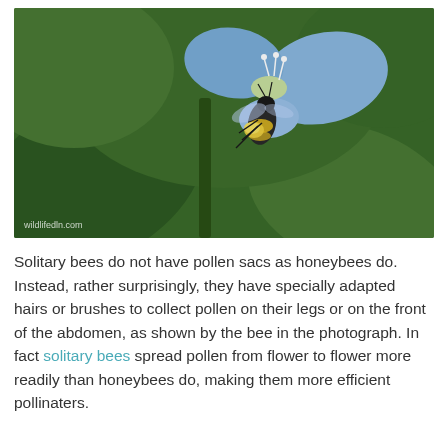[Figure (photo): Close-up photograph of a solitary bee with yellow pollen on its abdomen, clinging to a blue flower with green leaves in the background. A watermark reading 'wildlifedln.com' appears at the bottom left.]
Solitary bees do not have pollen sacs as honeybees do. Instead, rather surprisingly, they have specially adapted hairs or brushes to collect pollen on their legs or on the front of the abdomen, as shown by the bee in the photograph. In fact solitary bees spread pollen from flower to flower more readily than honeybees do, making them more efficient pollinaters.